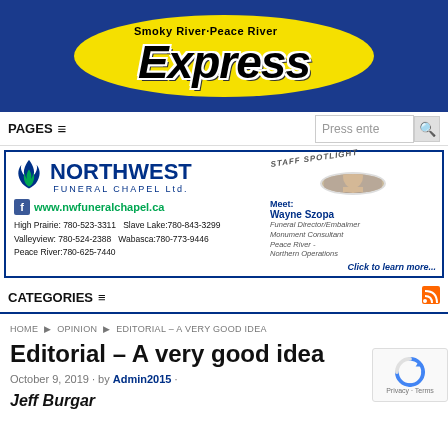[Figure (logo): Smoky River Peace River Express newspaper logo on blue background with yellow oval]
PAGES ☰
[Figure (infographic): Northwest Funeral Chapel Ltd. advertisement with Staff Spotlight featuring Wayne Szopa, Funeral Director/Embalmer, Monument Consultant, Peace River - Northern Operations. High Prairie: 780-523-3311, Slave Lake: 780-843-3299, Valleyview: 780-524-2388, Wabasca: 780-773-9446, Peace River: 780-625-7440. www.nwfuneralchapel.ca]
CATEGORIES ☰
HOME ▶ OPINION ▶ EDITORIAL – A VERY GOOD IDEA
Editorial – A very good idea
October 9, 2019 · by Admin2015 ·
Jeff Burgar